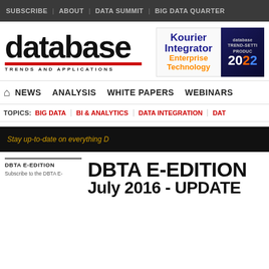SUBSCRIBE | ABOUT | DATA SUMMIT | BIG DATA QUARTER
[Figure (logo): database Trends and Applications logo with red underline, alongside Kourier Integrator Enterprise Technology ad and a dark badge with trend-setter product 2022]
NEWS  ANALYSIS  WHITE PAPERS  WEBINARS
TOPICS: BIG DATA | BI & ANALYTICS | DATA INTEGRATION | DAT
Stay up-to-date on everything D
DBTA E-EDITION
DBTA E-EDITION
July 2016 - UPDATE